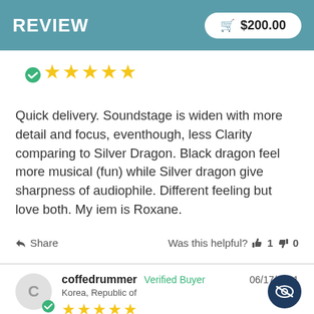REVIEW  $200.00
[Figure (other): 5-star rating with verified badge]
Quick delivery. Soundstage is widen with more detail and focus, eventhough, less Clarity comparing to Silver Dragon. Black dragon feel more musical (fun) while Silver dragon give sharpness of audiophile. Different feeling but love both. My iem is Roxane.
Share   Was this helpful?  👍 1  👎 0
coffedrummer  Verified Buyer   06/17/2021  Korea, Republic of  ★★★★★